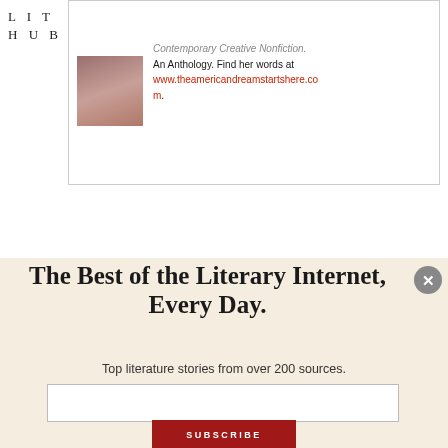LIT HUB
Contemporary Creative Nonfiction. An Anthology. Find her words at www.theamericandreamstartshere.com.
The Best of the Literary Internet, Every Day.
Top literature stories from over 200 sources.